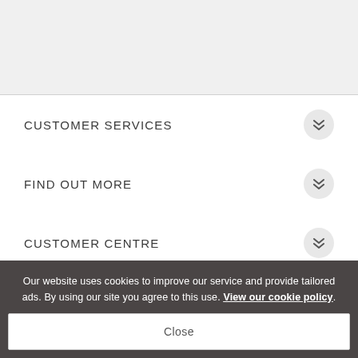[Figure (other): Gray header area placeholder]
CUSTOMER SERVICES
FIND OUT MORE
CUSTOMER CENTRE
SIGN UP TO OUR OFFERS
and receive 10% off your next order!*
Our website uses cookies to improve our service and provide tailored ads. By using our site you agree to this use. View our cookie policy.
Close